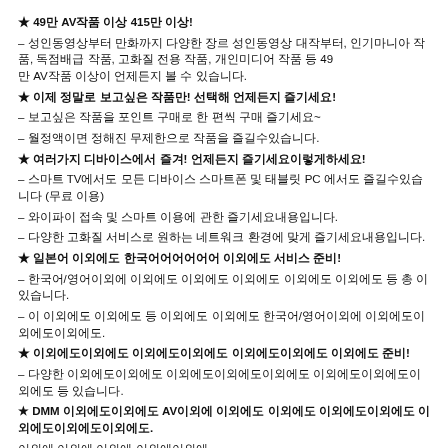★ 49만 AV작품 이상 415만 이상!
– 성인동영상부터 만화까지 다양한 장르 성인동영상 대작부터, 인기마니아 작품, 독점배급 작품, 고화질 전용 작품, 개인미디어 작품 등 49만 AV작품 이상이 언제든지 볼 수 있습니다.
★ 이제 정말로 보고싶은 작품만! 선택해 언제든지 즐기세요!
– 보고싶은 작품을 포인트 구매로 한 편씩 구매 즐기세요~
– 월정액이면 정해진 무제한으로 작품을 즐길수있습니다.
★ 여러가지 디바이스에서 즐겨! 언제든지 즐기세요이렇게하세요!
– 스마트 TV에서도 모든 디바이스 스마트폰 및 태블릿 PC 에서도 즐길수있습니다 (무료 이용)
– 와이파이 접속 및 스마트 이용에 관한 즐기세요내용입니다.
– 다양한 고화질 서비스로 원하는 네트워크 환경에 맞게 즐기세요내용입니다.
★ 일본어 이외에도 한국어어어어어어 이외에도 서비스 준비!
– 한국어/영어이외에 이외에도 이외에도 이외에도 이외에도 이외에도 등 총 이 있습니다.
– 이 이외에도 이외에도 등 이외에도 이외에도 한국어/영어이외에 이외에도이외에도이외에도.
★ 이외에도이외에도 이외에도이외에도 이외에도이외에도 이외에도 준비!
– 다양한 이외에도이외에도 이외에도이외에도이외에도 이외에도이외에도이외에도 등 있습니다.
★ DMM 이외에도이외에도 AV이외에 이외에도 이외에도 이외에도이외에도 이외에도이외에도이외에도.
이외에 이외에 이외에 이외에이외에.